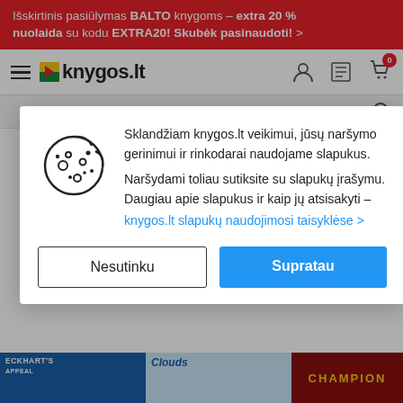Išskirtinis pasiūlymas BALTO knygoms – extra 20 % nuolaida su kodu EXTRA20! Skubėk pasinaudoti! >
[Figure (screenshot): knygos.lt website navigation bar with hamburger menu, logo, user icon, orders icon, and shopping cart with 0 badge]
[Figure (screenshot): Search bar area with search icon]
Sklandžiam knygos.lt veikimui, jūsų naršymo gerinimui ir rinkodarai naudojame slapukus. Naršydami toliau sutiksite su slapukų įrašymu. Daugiau apie slapukus ir kaip jų atsisakyti – knygos.lt slapukų naudojimosi taisyklėse >
Nesutinku
Supratau
[Figure (screenshot): Bottom strip showing three book covers: Eckhart's (blue), Clouds (light blue), and Champion (dark red)]